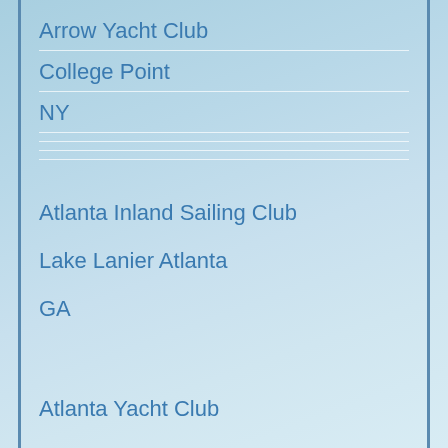Arrow Yacht Club
College Point
NY
Atlanta Inland Sailing Club
Lake Lanier Atlanta
GA
Atlanta Yacht Club
Atlanta